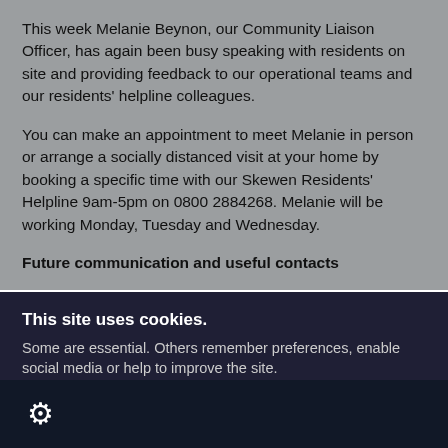This week Melanie Beynon, our Community Liaison Officer, has again been busy speaking with residents on site and providing feedback to our operational teams and our residents' helpline colleagues.
You can make an appointment to meet Melanie in person or arrange a socially distanced visit at your home by booking a specific time with our Skewen Residents' Helpline 9am-5pm on 0800 2884268. Melanie will be working Monday, Tuesday and Wednesday.
Future communication and useful contacts
This site uses cookies. Some are essential. Others remember preferences, enable social media or help to improve the site.